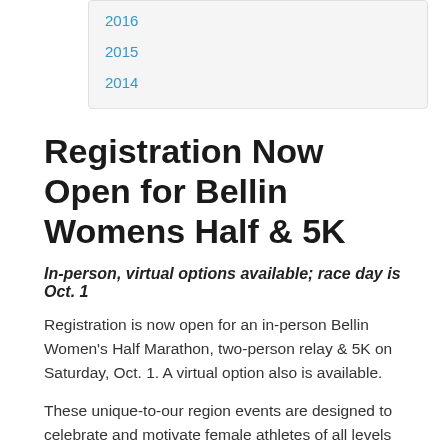2016
2015
2014
Registration Now Open for Bellin Womens Half & 5K
In-person, virtual options available; race day is Oct. 1
Registration is now open for an in-person Bellin Women's Half Marathon, two-person relay & 5K on Saturday, Oct. 1. A virtual option also is available.
These unique-to-our region events are designed to celebrate and motivate female athletes of all levels and abilities while building camaraderie and highlighting health